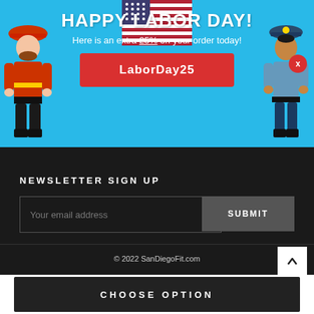[Figure (illustration): Promotional banner with light blue background showing a firefighter on the left and a police officer on the right with an American flag, promoting Happy Labor Day with 25% off coupon code LaborDay25]
HAPPY LABOR DAY!
Here is an extra 25% on your order today!
LaborDay25
NEWSLETTER SIGN UP
Your email address
SUBMIT
© 2022 SanDiegoFit.com
[Figure (logo): Payment icons: VISA, MasterCard, American Express, Discover, PayPal]
CHOOSE OPTION